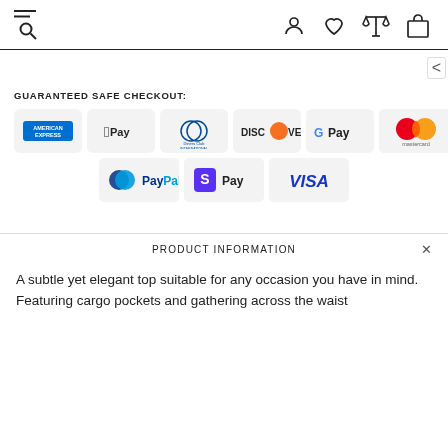Navigation header with menu, search, user, wishlist, compare, and cart icons
[Figure (infographic): GUARANTEED SAFE CHECKOUT section with payment method logos: American Express, Apple Pay, Diners Club International, Discover, Google Pay, Mastercard, PayPal, Shopify Pay, Visa]
PRODUCT INFORMATION
A subtle yet elegant top suitable for any occasion you have in mind. Featuring cargo pockets and gathering across the waist